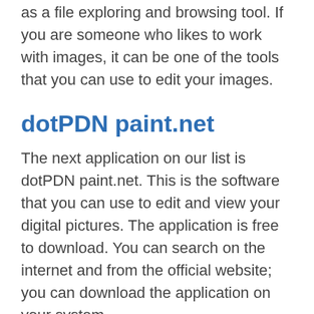as a file exploring and browsing tool. If you are someone who likes to work with images, it can be one of the tools that you can use to edit your images.
dotPDN paint.net
The next application on our list is dotPDN paint.net. This is the software that you can use to edit and view your digital pictures. The application is free to download. You can search on the internet and from the official website; you can download the application on your system.